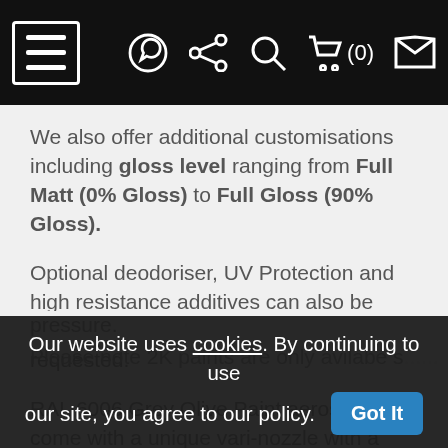Navigation bar with hamburger menu, WhatsApp icon, share icon, search icon, cart (0), and envelope icon
We also offer additional customisations including gloss level ranging from Full Matt (0% Gloss) to Full Gloss (90% Gloss).
Optional deodoriser, UV Protection and high resistance additives can also be mixed into our custom paints when requested.
RAL 6006 Grey Olive Paint aerosols come with a unique vari-nozzle with a wide and narrow operation switch which delivers HVLP style Atomisation, minimal overspray and constant pressure.
Please note 2K paints are only avilabe...
Our website uses cookies. By continuing to use our site, you agree to our policy. Got It